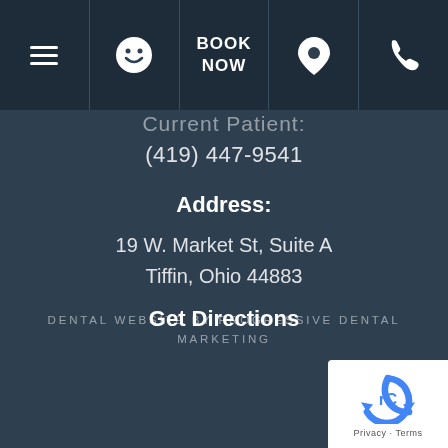[Figure (screenshot): Mobile website navigation bar with hamburger menu, smiley face icon, BOOK NOW button, map pin icon, and phone icon]
(partial title text cut off at top)
(419) 447-9541
Address:
19 W. Market St, Suite A
Tiffin, Ohio 44883
Get Directions
DENTAL WEBSITE BY PROGRESSIVE DENTAL MARKETING
[Figure (logo): Google reCAPTCHA badge with Privacy and Terms links]